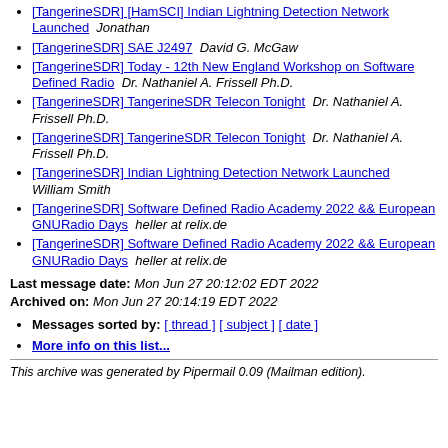[TangerineSDR] [HamSCI] Indian Lightning Detection Network Launched  Jonathan
[TangerineSDR] SAE J2497  David G. McGaw
[TangerineSDR] Today - 12th New England Workshop on Software Defined Radio  Dr. Nathaniel A. Frissell Ph.D.
[TangerineSDR] TangerineSDR Telecon Tonight  Dr. Nathaniel A. Frissell Ph.D.
[TangerineSDR] TangerineSDR Telecon Tonight  Dr. Nathaniel A. Frissell Ph.D.
[TangerineSDR] Indian Lightning Detection Network Launched  William Smith
[TangerineSDR] Software Defined Radio Academy 2022 && European GNURadio Days  heller at relix.de
[TangerineSDR] Software Defined Radio Academy 2022 && European GNURadio Days  heller at relix.de
Last message date: Mon Jun 27 20:12:02 EDT 2022
Archived on: Mon Jun 27 20:14:19 EDT 2022
Messages sorted by: [ thread ] [ subject ] [ date ]
More info on this list...
This archive was generated by Pipermail 0.09 (Mailman edition).